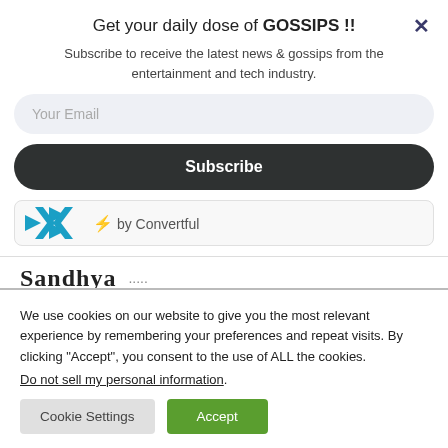Get your daily dose of GOSSIPS !!
Subscribe to receive the latest news & gossips from the entertainment and tech industry.
[Figure (screenshot): Email input field with placeholder 'Your Email' and a dark Subscribe button, plus Convertful branding logo and text]
[Figure (screenshot): Partially visible 'Sandhya' text header cropped at bottom of modal]
We use cookies on our website to give you the most relevant experience by remembering your preferences and repeat visits. By clicking "Accept", you consent to the use of ALL the cookies.
Do not sell my personal information.